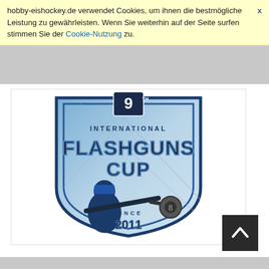hobby-eishockey.de verwendet Cookies, um ihnen die bestmögliche Leistung zu gewährleisten. Wenn Sie weiterhin auf der Seite surfen stimmen Sie der Cookie-Nutzung zu.
[Figure (logo): 9th International Flashguns Cup logo — a shield-shaped emblem in blue and grey featuring a hockey player shooting a puck shaped like a gun barrel/8-ball, with text 'INTERNATIONAL FLASHGUNS CUP' and 'SINCE 2011']